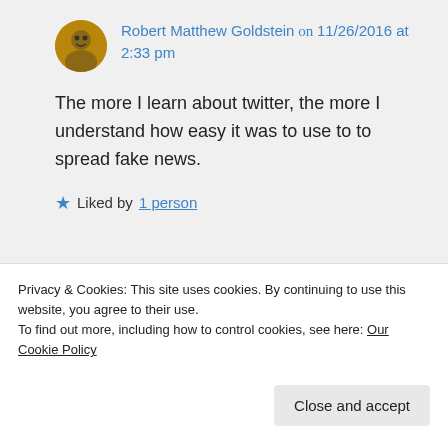Robert Matthew Goldstein on 11/26/2016 at 2:33 pm
The more I learn about twitter, the more I understand how easy it was to use to to spread fake news.
★ Liked by 1 person
Gronda Morin on 11/26/2016 at 3:21
Privacy & Cookies: This site uses cookies. By continuing to use this website, you agree to their use.
To find out more, including how to control cookies, see here: Our Cookie Policy